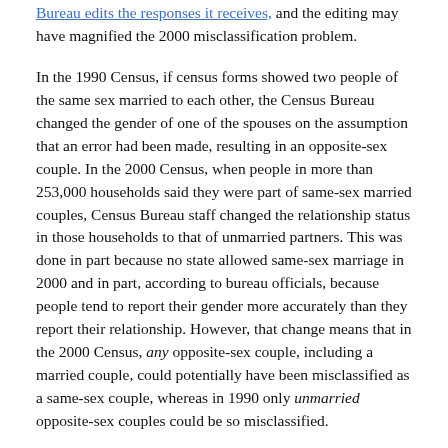Bureau edits the responses it receives, and the editing may have magnified the 2000 misclassification problem.
In the 1990 Census, if census forms showed two people of the same sex married to each other, the Census Bureau changed the gender of one of the spouses on the assumption that an error had been made, resulting in an opposite-sex couple. In the 2000 Census, when people in more than 253,000 households said they were part of same-sex married couples, Census Bureau staff changed the relationship status in those households to that of unmarried partners. This was done in part because no state allowed same-sex marriage in 2000 and in part, according to bureau officials, because people tend to report their gender more accurately than they report their relationship. However, that change means that in the 2000 Census, any opposite-sex couple, including a married couple, could potentially have been misclassified as a same-sex couple, whereas in 1990 only unmarried opposite-sex couples could be so misclassified.